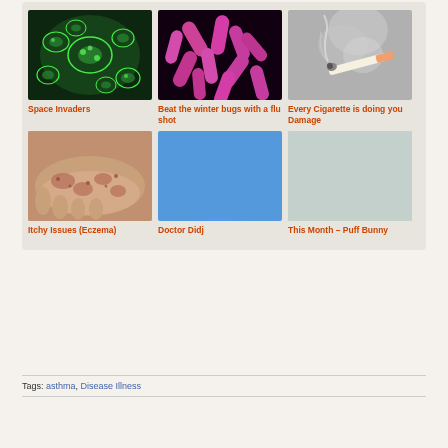[Figure (illustration): Grid of 6 health article cards with images and orange titles. Row 1: Space Invaders (microorganism microscopy image), Beat the winter bugs with a flu shot (pink bacteria on black), Every Cigarette is doing you Damage (cigarette with smoke). Row 2: Itchy Issues (Eczema) (skin with eczema), Doctor Didj (rainbow colored arcs), This Month – Puff Bunny (plain light grey/blue image).]
Tags:  asthma,  Disease Illness